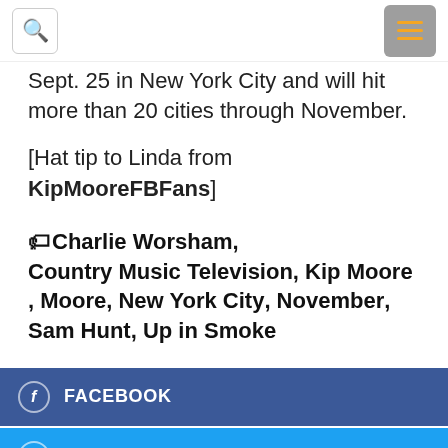[search icon] [menu icon]
Sept. 25 in New York City and will hit more than 20 cities through November.
[Hat tip to Linda from KipMooreFBFans]
Charlie Worsham, Country Music Television, Kip Moore, Moore, New York City, November, Sam Hunt, Up in Smoke
FACEBOOK
TWITTER
PINTEREST
LINKEDIN